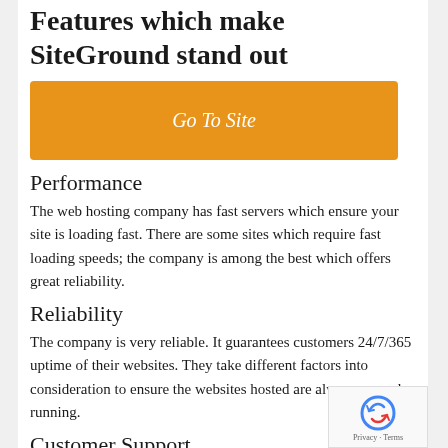Features which make SiteGround stand out
[Figure (other): Orange button with italic text 'Go To Site']
Performance
The web hosting company has fast servers which ensure your site is loading fast. There are some sites which require fast loading speeds; the company is among the best which offers great reliability.
Reliability
The company is very reliable. It guarantees customers 24/7/365 uptime of their websites. They take different factors into consideration to ensure the websites hosted are always up and running.
Customer Support